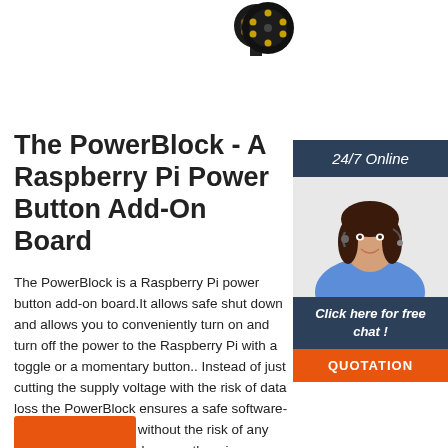[Figure (photo): Two circular connector plugs (black), one on the left and one on the right, shown at the top of the page]
[Figure (photo): 24/7 Online chat widget with a woman wearing a headset. Dark blue header saying '24/7 Online', photo of smiling woman, text 'Click here for free chat!', orange QUOTATION button]
The PowerBlock - A Raspberry Pi Power Button Add-On Board
The PowerBlock is a Raspberry Pi power button add-on board. It allows safe shut down and allows you to conveniently turn on and turn off the power to the Raspberry Pi with a toggle or a momentary button.. Instead of just cutting the supply voltage with the risk of data loss the PowerBlock ensures a safe software-controlled shutdown without the risk of any data losses that could occur otherwise.
[Figure (other): Orange button at the bottom left (partially visible)]